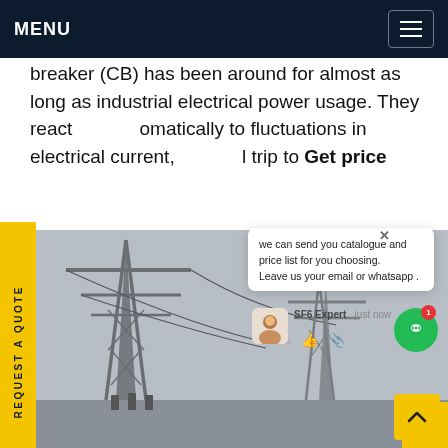MENU
breaker (CB) has been around for almost as long as industrial electrical power usage. They react automatically to fluctuations in electrical current, and trip to Get price
REQUEST A QUOTE
[Figure (photo): Black and white photo of high-voltage electrical transmission towers and substation infrastructure against a grey sky]
we can send you catalogue and price list for you choosing. Leave us your email or whatsapp .
SF6 Expert   just now
Write a